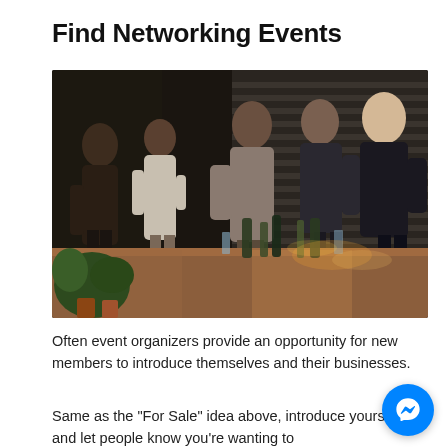Find Networking Events
[Figure (photo): Group of people networking at an event, standing around a wooden table with drinks and plants, in a dark office setting with blinds in the background.]
Often event organizers provide an opportunity for new members to introduce themselves and their businesses.
Same as the “For Sale” idea above, introduce yourself and let people know you’re wanting to